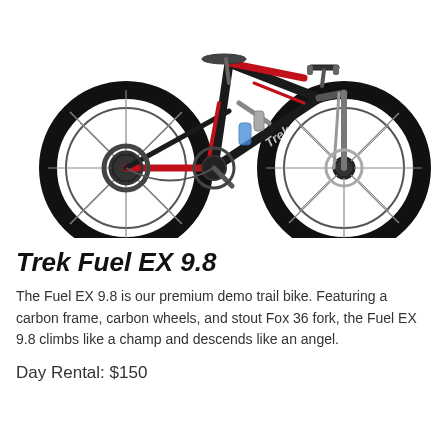[Figure (photo): Trek Fuel EX 9.8 full-suspension mountain bike in black and red colorway, side profile view facing left, showing carbon frame, Fox 36 fork, large knobby tires, and disc brakes]
Trek Fuel EX 9.8
The Fuel EX 9.8 is our premium demo trail bike. Featuring a carbon frame, carbon wheels, and stout Fox 36 fork, the Fuel EX 9.8 climbs like a champ and descends like an angel.
Day Rental: $150